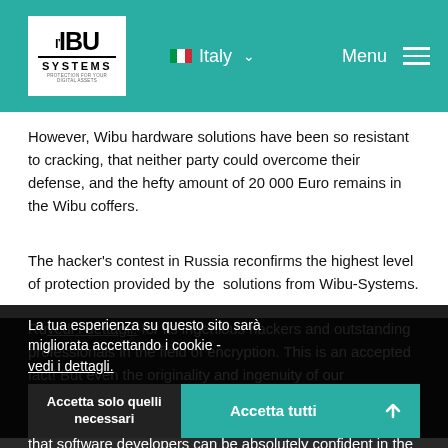WIBU SYSTEMS — Italy — Menu
However, Wibu hardware solutions have been so resistant to cracking, that neither party could overcome their defense, and the hefty amount of 20 000 Euro remains in the Wibu coffers.
The hacker's contest in Russia reconfirms the highest level of protection provided by the solutions from Wibu-Systems.
Russia is well known for its ingenious hackers and outstanding professionals in the field of encryption. This is an accepted fact! But even the originality and ingenuity of our professionals has not been able to overcome the solutions of Wibu-Systems. The results of the Hacker's contest show that software developers can be absolutely confident in the safety of their intellectual property using
La tua esperienza su questo sito sarà migliorata accettando i cookie - vedi i dettagli.
Accetta solo quelli necessari
Accetta tutti